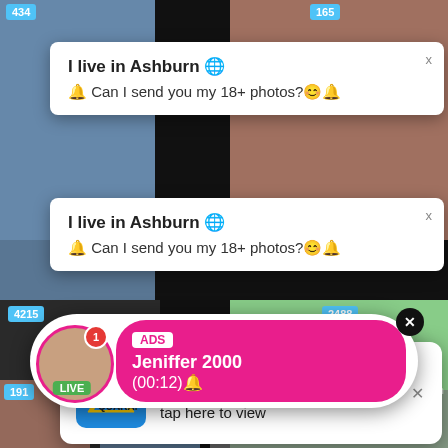[Figure (screenshot): Screenshot of adult content website with multiple thumbnail images and overlay advertisements/notifications]
434
165
4215
2488
191
I live in Ashburn 🌐
🔔 Can I send you my 18+ photos?☺️🔔
I live in Ashburn 🌐
🔔 Can I send you my 18+ photos?☺️🔔
in case of quarantine
Advertisement
tap here to view
ADS
Jeniffer 2000
(00:12)🔔